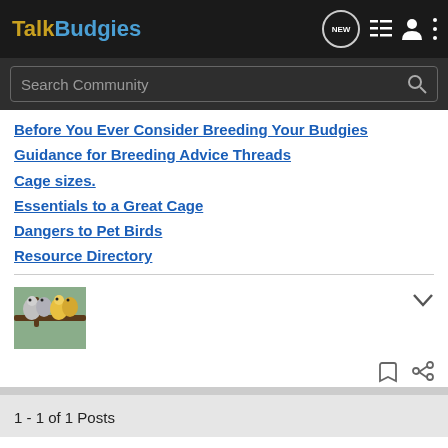TalkBudgies
Before You Ever Consider Breeding Your Budgies
Guidance for Breeding Advice Threads
Cage sizes.
Essentials to a Great Cage
Dangers to Pet Birds
Resource Directory
[Figure (photo): Thumbnail image of budgies/parakeets perched together]
1 - 1 of 1 Posts